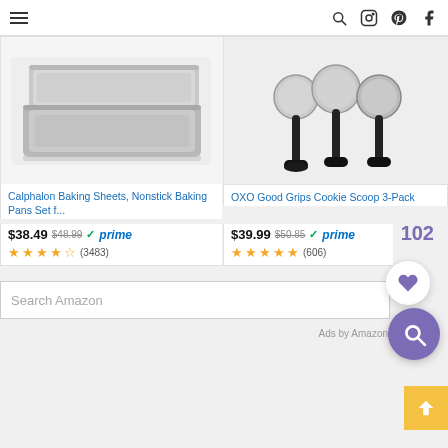Navigation bar with hamburger menu, search, instagram, pinterest, and facebook icons
[Figure (photo): Calphalon baking sheets/nonstick baking pans product image - two silver baking pans stacked]
Calphalon Baking Sheets, Nonstick Baking Pans Set f...
$38.49  $48.99  prime  ★★★★½ (3483)
[Figure (photo): OXO Good Grips Cookie Scoop 3-Pack product image - three cookie scoops with black handles]
OXO Good Grips Cookie Scoop 3-Pack
$39.99  $50.85  prime  ★★★★★ (606)
102
Search Amazon
Ads by Amazon